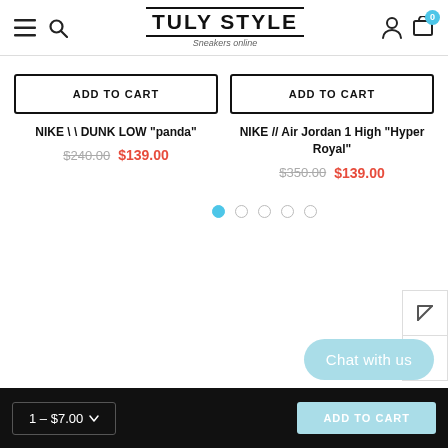TULY STYLE — Sneakers online
ADD TO CART
NIKE \ \ DUNK LOW "panda"
$240.00 $139.00
ADD TO CART
NIKE // Air Jordan 1 High "Hyper Royal"
$350.00 $139.00
Chat with us
1 – $7.00
ADD TO CART